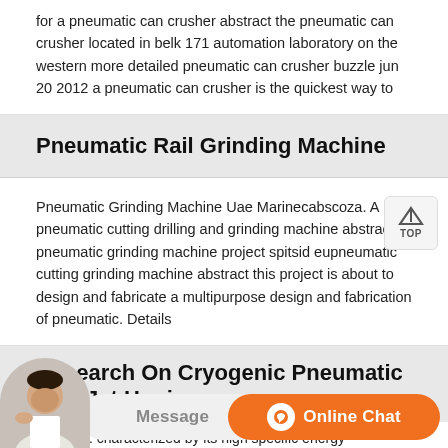for a pneumatic can crusher abstract the pneumatic can crusher located in belk 171 automation laboratory on the western more detailed pneumatic can crusher buzzle jun 20 2012 a pneumatic can crusher is the quickest way to
Pneumatic Rail Grinding Machine
Pneumatic Grinding Machine Uae Marinecabscoza. A pneumatic cutting drilling and grinding machine abstract pneumatic grinding machine project spitsid eupneumatic cutting grinding machine abstract this project is about to design and fabricate a multipurpose design and fabrication of pneumatic. Details
Research On Cryogenic Pneumatic Mist Jet Honing
Grinding. characterized by its high specific energy